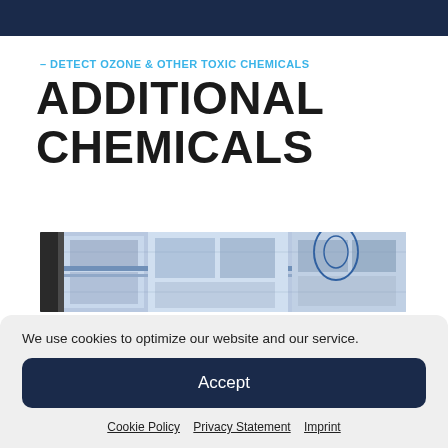– DETECT OZONE & OTHER TOXIC CHEMICALS
ADDITIONAL CHEMICALS
[Figure (photo): Industrial/laboratory equipment photo with blue tones showing metal frames and equipment panels]
We use cookies to optimize our website and our service.
Accept
Cookie Policy   Privacy Statement   Imprint